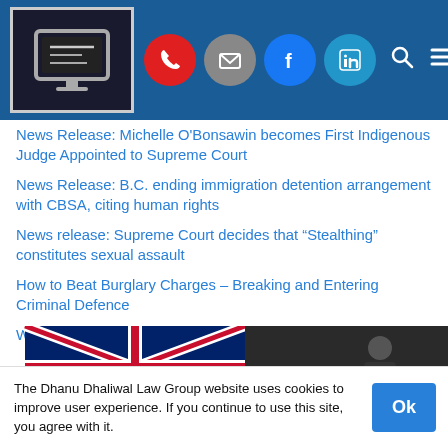Dhanu Dhaliwal Law Group website navigation bar with logo, phone, mail, Facebook, LinkedIn, search, and menu icons
News Release: Michelle O'Bonsawin becomes First Indigenous Judge Appointed to Supreme Court
News Release: B.C. ending immigration detention arrangement with CBSA, citing human rights
News release: Supreme Court decides that “Stealthing” constitutes sexual assault
How to Beat Burglary Charges – Breaking and Entering Criminal Defence
What to Expect from an Adoption Hearing
[Figure (photo): Photo of a BC flag and a person in uniform on the right against a dark background]
The Dhanu Dhaliwal Law Group website uses cookies to improve user experience. If you continue to use this site, you agree with it.